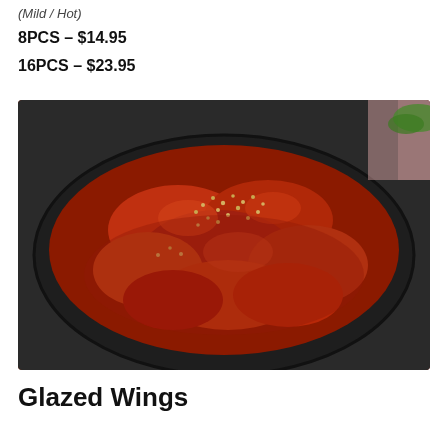(Mild / Hot)
8PCS – $14.95
16PCS – $23.95
[Figure (photo): Photo of glazed chicken wings covered in red-brown sauce with sesame seeds, served in a dark bowl]
Glazed Wings